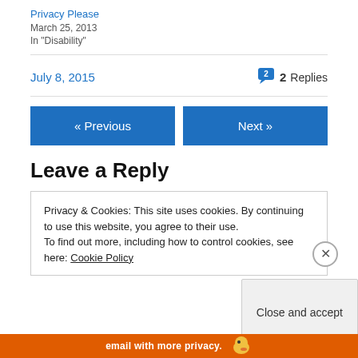Privacy Please
March 25, 2013
In "Disability"
July 8, 2015
2 Replies
« Previous
Next »
Leave a Reply
Privacy & Cookies: This site uses cookies. By continuing to use this website, you agree to their use.
To find out more, including how to control cookies, see here: Cookie Policy
Close and accept
email with more privacy.